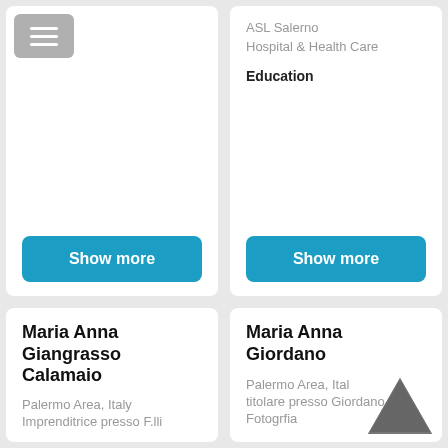[Figure (screenshot): Top-left card with hamburger menu button and Show more button]
ASL Salerno
Hospital & Health Care
Education
[Figure (screenshot): Top-right card with ASL Salerno info and Show more button]
Maria Anna Giangrasso Calamaio
Palermo Area, Italy
Imprenditrice presso F.lli
Maria Anna Giordano
Palermo Area, Ital
titolare presso Giordano
Fotogrfia